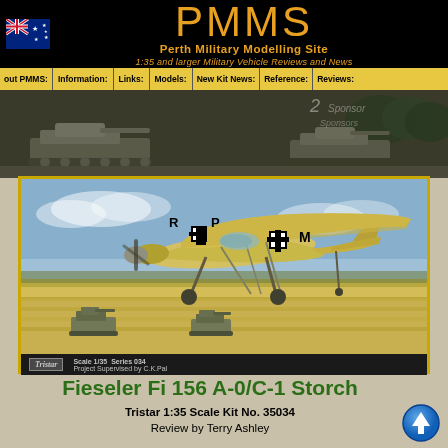PMMS Perth Military Modelling Site — 1:35 and larger Military Vehicle Reviews and News
[Figure (screenshot): PMMS website header with Australian flag, gold PMMS logo text, site name and navigation bar with links: About PMMS, Information, Links, Models, New Kit News, Reference, Reviews]
[Figure (photo): Background photo of military tank in dark/night setting]
[Figure (illustration): Box art illustration of Fieseler Fi 156 Storch aircraft in flight over a field with tanks below. Aircraft marked R+P and M with German Luftwaffe crosses. Tristar kit box art, Scale 1/35, Series 034, Project Supervised by C.K.Pal]
Fieseler Fi 156 A-0/C-1 Storch
Tristar 1:35 Scale Kit No. 35034
Review by Terry Ashley